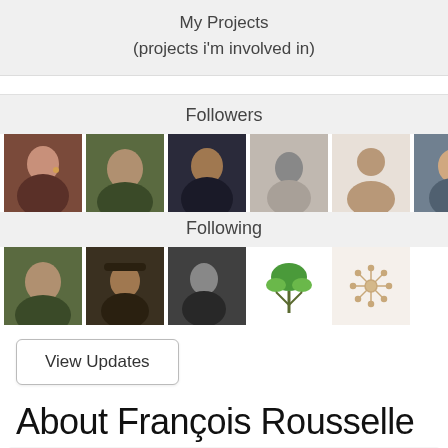My Projects
(projects i'm involved in)
Followers
[Figure (photo): Row of 8 follower avatar photos/icons]
Following
[Figure (photo): Row of 5 following avatar photos/icons]
View Updates
About François Rousselle
Hi, welcome in my profile !

I'm a little new to the world of permaculture since I've made the PDC for some months, in the middle of